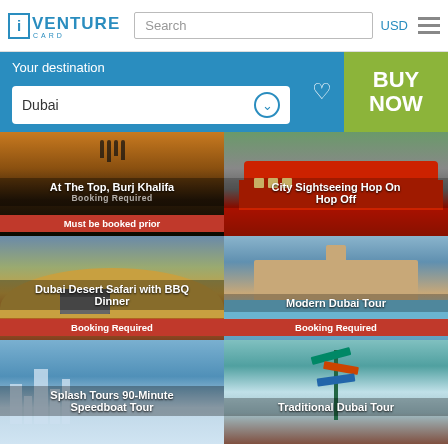[Figure (screenshot): iVenture Card website screenshot showing Dubai destination page with attraction cards]
iVenture CARD | Search | USD | Menu
Your destination
Dubai
BUY NOW
[Figure (photo): At The Top, Burj Khalifa – silhouettes against sunset sky]
At The Top, Burj Khalifa
Booking Required
Must be booked prior
[Figure (photo): City Sightseeing Hop On Hop Off red bus]
City Sightseeing Hop On Hop Off
[Figure (photo): Dubai Desert Safari with BBQ Dinner – SUV in desert dunes]
Dubai Desert Safari with BBQ Dinner
Booking Required
[Figure (photo): Modern Dubai Tour – Atlantis hotel aerial view with beach]
Modern Dubai Tour
Booking Required
[Figure (photo): Splash Tours 90-Minute Speedboat Tour – Dubai skyline]
Splash Tours 90-Minute Speedboat Tour
[Figure (photo): Traditional Dubai Tour – colorful signpost]
Traditional Dubai Tour